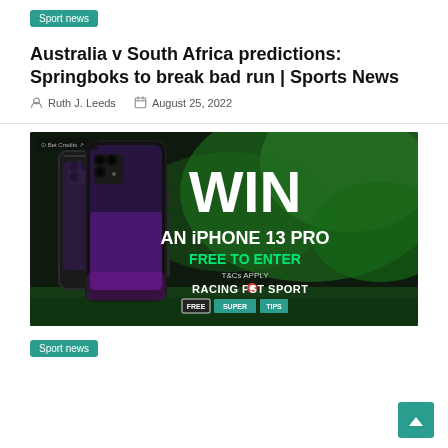Sport news
Australia v South Africa predictions: Springboks to break bad run | Sports News
Ruth J. Leeds   August 25, 2022
[Figure (photo): Promotional advertisement image: iPhone 13 Pro shown on dark green background with text WIN AN iPHONE 13 PRO, FREE TO ENTER, T&Cs APPLY, RACING POST SPORT, FREE SUPER TIPS]
Sport news